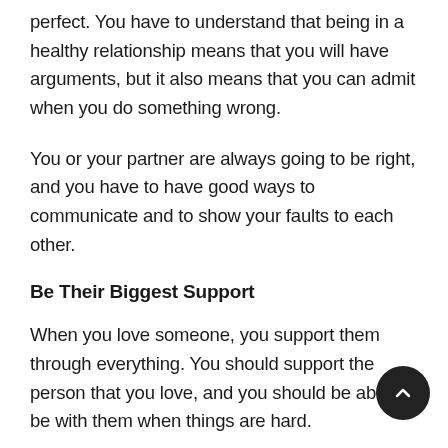perfect. You have to understand that being in a healthy relationship means that you will have arguments, but it also means that you can admit when you do something wrong.
You or your partner are always going to be right, and you have to have good ways to communicate and to show your faults to each other.
Be Their Biggest Support
When you love someone, you support them through everything. You should support the person that you love, and you should be able to be with them when things are hard.